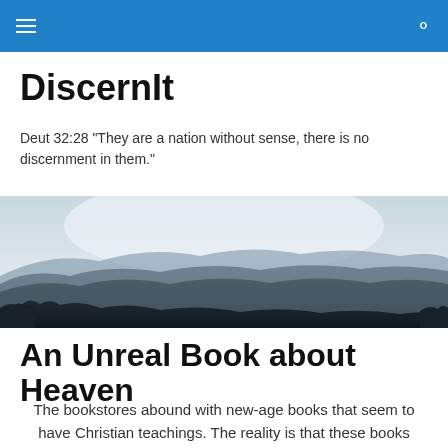DiscernIt navigation bar with hamburger menu and search icon
DiscernIt
Deut 32:28 "They are a nation without sense, there is no discernment in them."
[Figure (photo): A wide panoramic landscape photograph showing layered mountain ridges receding into a hazy sky, with dark silhouetted trees in the foreground and misty blue-grey mountains in the background.]
An Unreal Book about Heaven
The bookstores abound with new-age books that seem to have Christian teachings. The reality is that these books